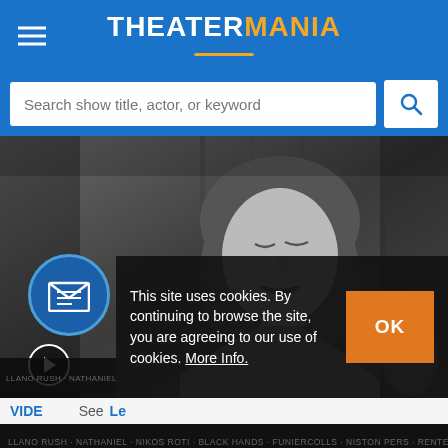TheaterMania
Search show title, actor, or keyword
[Figure (screenshot): Black and white photo of a woman with long dark hair, eyes closed, mouth open as if singing, wearing a halter top. Overlaid with a circular blue email/newsletter icon on the left side and a play button at bottom left. A cookie consent bar partially covers the bottom-right: 'This site uses cookies. By continuing to browse the site, you are agreeing to our use of cookies. More Info.' with an OK button. Below the image are text labels including VIDEO and 'See Le...' in blue.]
This site uses cookies. By continuing to browse the site, you are agreeing to our use of cookies. More Info.
See Le